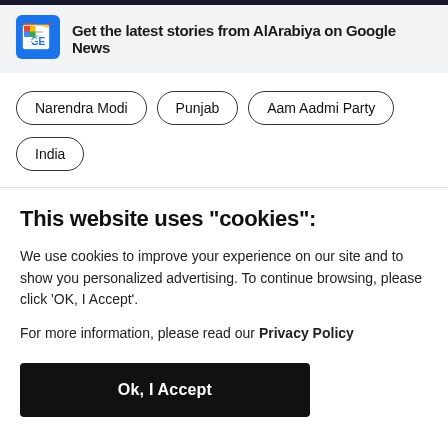[Figure (logo): Google News logo icon with colorful news pages and GE letters on dark blue background]
Get the latest stories from AlArabiya on Google News
Narendra Modi
Punjab
Aam Aadmi Party
India
This website uses "cookies":
We use cookies to improve your experience on our site and to show you personalized advertising. To continue browsing, please click ‘OK, I Accept’.
For more information, please read our Privacy Policy
Ok, I Accept